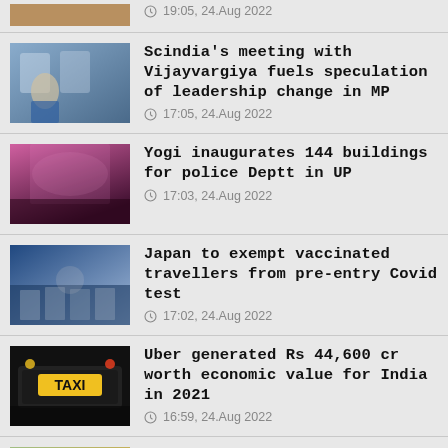19:05, 24.Aug 2022
Scindia’s meeting with Vijayvargiya fuels speculation of leadership change in MP
17:05, 24.Aug 2022
Yogi inaugurates 144 buildings for police Deptt in UP
17:03, 24.Aug 2022
Japan to exempt vaccinated travellers from pre-entry Covid test
17:02, 24.Aug 2022
Uber generated Rs 44,600 cr worth economic value for India in 2021
16:59, 24.Aug 2022
Nearly 80% SMEs expect pick up in orderbook in coming months
16:58, 24.Aug 2022
TN govt mulling reducing proposed power...